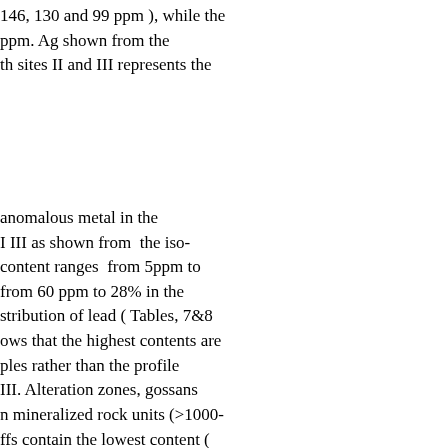146, 130 and 99 ppm ), while the ppm. Ag shown from the th sites II and III represents the
anomalous metal in the III as shown from the iso-content ranges from 5ppm to from 60 ppm to 28% in the stribution of lead ( Tables, 7&8 ows that the highest contents are ples rather than the profile III. Alteration zones, gossans n mineralized rock units (>1000-ffs contain the lowest content ( ead (28 %) is recorded in the while the garnetiferous altered of trench samples from site II